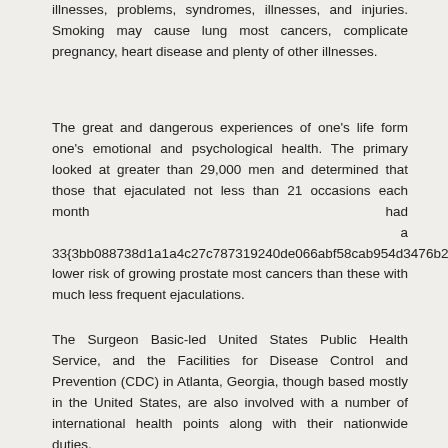illnesses, problems, syndromes, illnesses, and injuries. Smoking may cause lung most cancers, complicate pregnancy, heart disease and plenty of other illnesses.
The great and dangerous experiences of one's life form one's emotional and psychological health. The primary looked at greater than 29,000 men and determined that those that ejaculated not less than 21 occasions each month had a 33{3bb088738d1a1a4c27c787319240de066abf58cab954d3476b26292c79b35bdc} lower risk of growing prostate most cancers than these with much less frequent ejaculations.
The Surgeon Basic-led United States Public Health Service, and the Facilities for Disease Control and Prevention (CDC) in Atlanta, Georgia, though based mostly in the United States, are also involved with a number of international health points along with their nationwide duties.